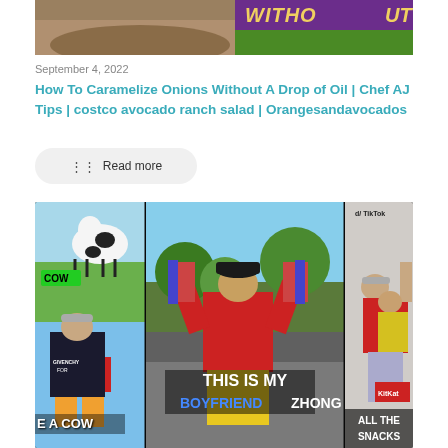[Figure (screenshot): Partial top image showing food (caramelized onions) with purple and green banner partially visible, text 'without' visible]
September 4, 2022
How To Caramelize Onions Without A Drop of Oil | Chef AJ Tips | costco avocado ranch salad | Orangesandavocados
Read more
[Figure (screenshot): TikTok collage screenshot showing three panels: left panel with cow image labeled COW and person with text 'E A COW', center panel with man in red hoodie holding items with text 'THIS IS MY BOYFRIEND ZHONG', right panel with two people and text 'ALL THE SNACKS'. TikTok logo visible in top right.]